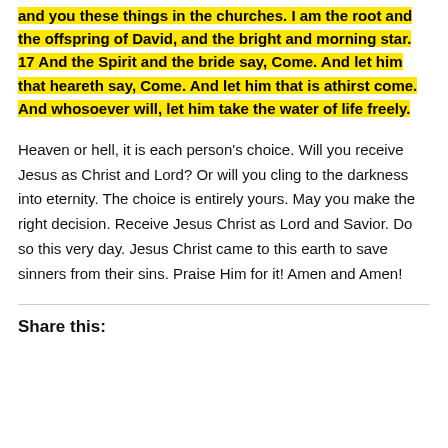and you these things in the churches. I am the root and the offspring of David, and the bright and morning star. 17 And the Spirit and the bride say, Come. And let him that heareth say, Come. And let him that is athirst come. And whosoever will, let him take the water of life freely.
Heaven or hell, it is each person's choice. Will you receive Jesus as Christ and Lord? Or will you cling to the darkness into eternity. The choice is entirely yours. May you make the right decision. Receive Jesus Christ as Lord and Savior. Do so this very day. Jesus Christ came to this earth to save sinners from their sins. Praise Him for it! Amen and Amen!
Share this: